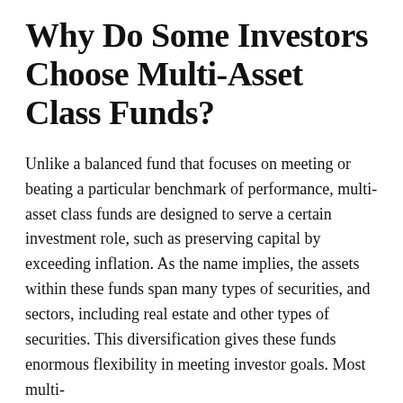Why Do Some Investors Choose Multi-Asset Class Funds?
Unlike a balanced fund that focuses on meeting or beating a particular benchmark of performance, multi-asset class funds are designed to serve a certain investment role, such as preserving capital by exceeding inflation. As the name implies, the assets within these funds span many types of securities, and sectors, including real estate and other types of securities. This diversification gives these funds enormous flexibility in meeting investor goals. Most multi-